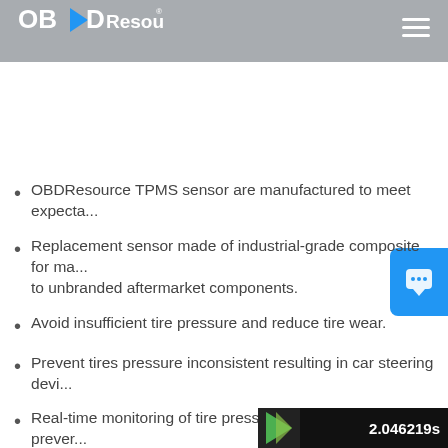OBDResource
OBDResource TPMS sensor are manufactured to meet expecta...
Replacement sensor made of industrial-grade composite for ma... to unbranded aftermarket components.
Avoid insufficient tire pressure and reduce tire wear.
Prevent tires pressure inconsistent resulting in car steering devi...
Real-time monitoring of tire pressure and temperature to prever...
13598711 315MHz sensor had Pre-programm...